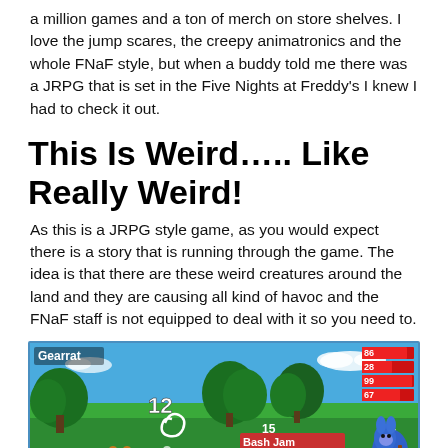a million games and a ton of merch on store shelves. I love the jump scares, the creepy animatronics and the whole FNaF style, but when a buddy told me there was a JRPG that is set in the Five Nights at Freddy's I knew I had to check it out.
This Is Weird….. Like Really Weird!
As this is a JRPG style game, as you would expect there is a story that is running through the game. The idea is that there are these weird creatures around the land and they are causing all kind of havoc and the FNaF staff is not equipped to deal with it so you need to.
[Figure (screenshot): Game screenshot showing a JRPG battle scene with 'Gearrat' enemy label, number 12 floating, battle menu with options 'Bash Jam', 'Munchies', 'Prize Ball', health bars on the right side showing values 86, 28, 99, 67, number 1 and 6 visible, animatronic character on right, small creature bottom left, green outdoor background with trees.]